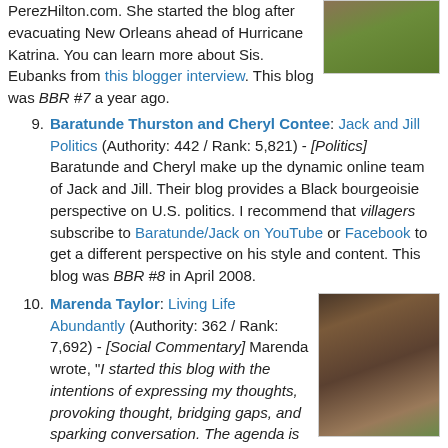PerezHilton.com. She started the blog after evacuating New Orleans ahead of Hurricane Katrina. You can learn more about Sis. Eubanks from this blogger interview. This blog was BBR #7 a year ago.
[Figure (photo): Photo of a person outdoors with green and yellow tones]
9. Baratunde Thurston and Cheryl Contee: Jack and Jill Politics (Authority: 442 / Rank: 5,821) - [Politics] Baratunde and Cheryl make up the dynamic online team of Jack and Jill. Their blog provides a Black bourgeoisie perspective on U.S. politics. I recommend that villagers subscribe to Baratunde/Jack on YouTube or Facebook to get a different perspective on his style and content. This blog was BBR #8 in April 2008.
10. Marenda Taylor: Living Life Abundantly (Authority: 362 / Rank: 7,692) - [Social Commentary] Marenda wrote, "I started this blog with the intentions of expressing my thoughts, provoking thought, bridging gaps, and sparking conversation. The agenda is
[Figure (photo): Photo of a smiling woman wearing sunglasses outdoors]